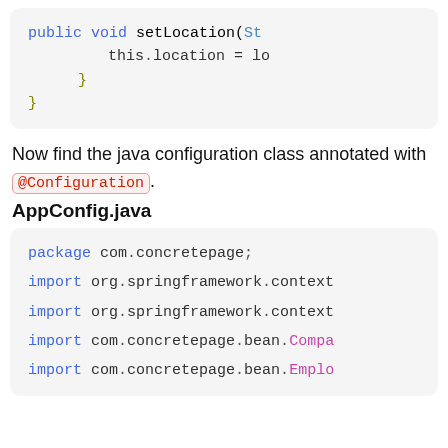[Figure (screenshot): Code block showing Java method: public void setLocation(St... with this.location = lo... and closing braces]
Now find the java configuration class annotated with @Configuration.
AppConfig.java
[Figure (screenshot): Code block showing Java file: package com.concretepage; import org.springframework.context... import org.springframework.context... import com.concretepage.bean.Compa... import com.concretepage.bean.Emplo...]